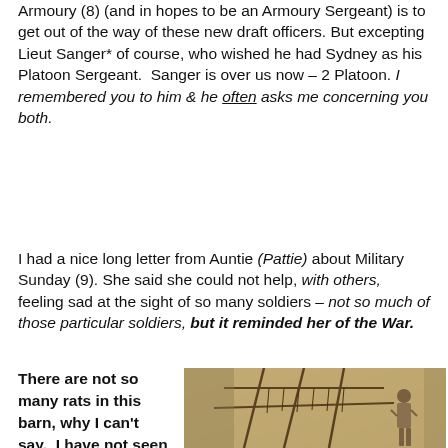Armoury (8) (and in hopes to be an Armoury Sergeant) is to get out of the way of these new draft officers. But excepting Lieut Sanger* of course, who wished he had Sydney as his Platoon Sergeant.  Sanger is over us now – 2 Platoon. I remembered you to him & he often asks me concerning you both.
I had a nice long letter from Auntie (Pattie) about Military Sunday (9). She said she could not help, with others, feeling sad at the sight of so many soldiers – not so much of those particular soldiers, but it reminded her of the War.
There are not so many rats in this barn, why I can't say.  I have not seen one
[Figure (photo): Sepia-toned historical photograph showing a soldier standing next to a large wooden rack or frame structure hung with numerous items (possibly equipment or game), outdoors with trees and a building visible in the background.]